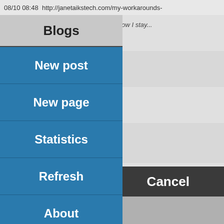08/10 08:48  http://janetaikstech.com/my-workarounds-
[Figure (screenshot): Mobile app screenshot showing a dropdown menu with options: Blogs (header), New post, New page, Statistics, Refresh, About, Exit overlaid on a list of blog post items. Background shows partial list items with text snippets. Bottom bar has Select and Cancel buttons. Edit Post bar at bottom.]
Blogs
New post
New page
Statistics
Refresh
About
Exit
Select
Cancel
Edit Post